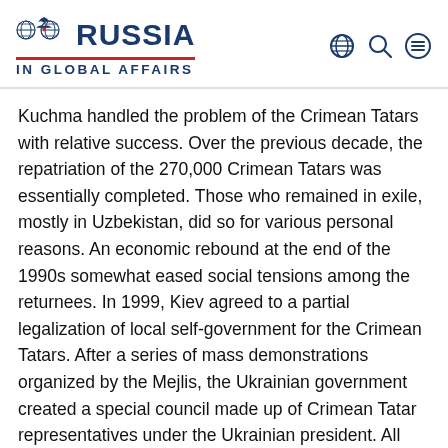[Figure (logo): Russia in Global Affairs logo with globe/eagle icon on the left, RUSSIA text in bold dark blue with red underline, and IN GLOBAL AFFAIRS subtitle below. Three navigation icons (globe, search, menu) on the right.]
Kuchma handled the problem of the Crimean Tatars with relative success. Over the previous decade, the repatriation of the 270,000 Crimean Tatars was essentially completed. Those who remained in exile, mostly in Uzbekistan, did so for various personal reasons. An economic rebound at the end of the 1990s somewhat eased social tensions among the returnees. In 1999, Kiev agreed to a partial legalization of local self-government for the Crimean Tatars. After a series of mass demonstrations organized by the Mejlis, the Ukrainian government created a special council made up of Crimean Tatar representatives under the Ukrainian president. All Mejlis members took seats on that council. Crimean Tatars had begun infiltrating federal agencies on a massive scale and the process of forming ethnic bureaucracy and